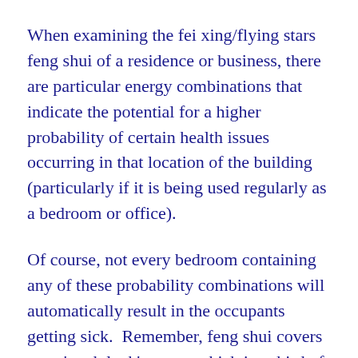When examining the fei xing/flying stars feng shui of a residence or business, there are particular energy combinations that indicate the potential for a higher probability of certain health issues occurring in that location of the building (particularly if it is being used regularly as a bedroom or office).
Of course, not every bedroom containing any of these probability combinations will automatically result in the occupants getting sick.  Remember, feng shui covers your 'earth luck' energy which is a third of your overall luck potential.
You also need to examine the